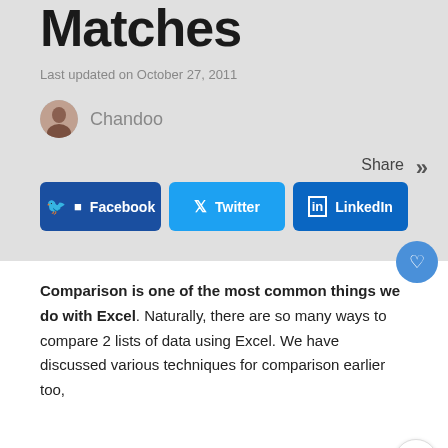Matches
Last updated on October 27, 2011
Chandoo
Share
Facebook
Twitter
LinkedIn
Comparison is one of the most common things we do with Excel. Naturally, there are so many ways to compare 2 lists of data using Excel. We have discussed various techniques for comparison earlier too,